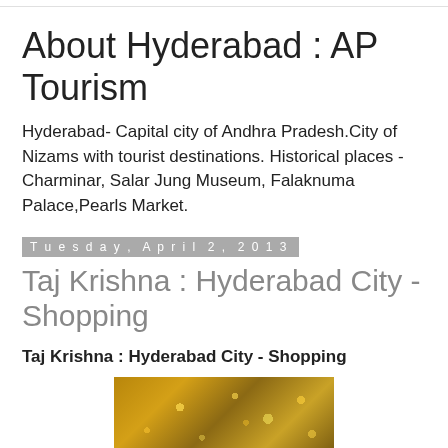About Hyderabad : AP Tourism
Hyderabad- Capital city of Andhra Pradesh.City of Nizams with tourist destinations. Historical places - Charminar, Salar Jung Museum, Falaknuma Palace,Pearls Market.
Tuesday, April 2, 2013
Taj Krishna : Hyderabad City - Shopping
Taj Krishna : Hyderabad City - Shopping
[Figure (photo): Close-up photo of golden/amber colored decorative fabric or jewelry with circular embellishments]